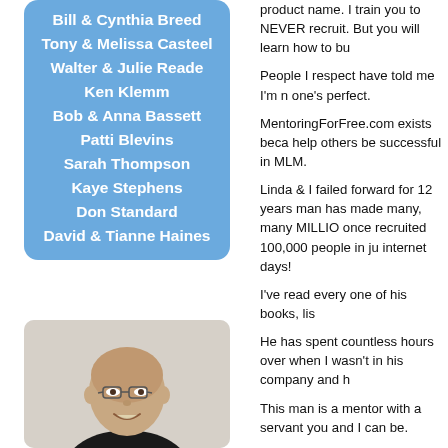Bill & Cynthia Breed
Tony & Melissa Casteel
Walter & Julie Reade
Ken Klemm
Bob & Anna Bassett
Patti Blevins
Sarah Thompson
Kaye Stephens
Don Standard
David & Tianne Haines
[Figure (photo): Headshot photo of a bald man with glasses, smiling, wearing a dark shirt, against a light background.]
product name. I train you to NEVER recruit. But you will learn how to bu
People I respect have told me I'm n one's perfect.
MentoringForFree.com exists beca help others be successful in MLM.
Linda & I failed forward for 12 years man has made many, many MILLIO once recruited 100,000 people in ju internet days!
I've read every one of his books, lis
He has spent countless hours over when I wasn't in his company and h
This man is a mentor with a servant you and I can be.
My goal is to help YOU, just as Tom
CLICK HERE to read "Big Al"'s MLM
If I can do that, I'll be happy. Who k wind up working together.
Briefly, here's my MLM philoso